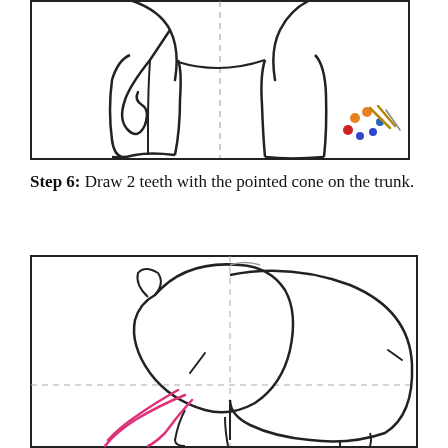[Figure (illustration): Drawing tutorial step showing an elephant from the front/side with legs and curled trunk visible, dashed vertical and horizontal guide lines, and a small colorful paint palette icon in the bottom-right corner of the image frame.]
Step 6: Draw 2 teeth with the pointed cone on the trunk.
[Figure (illustration): Drawing tutorial step showing an elephant from the side/rear with large rounded body, head with ear, and pink curved tusk/teeth lines drawn near the trunk area. Dashed guide lines visible.]